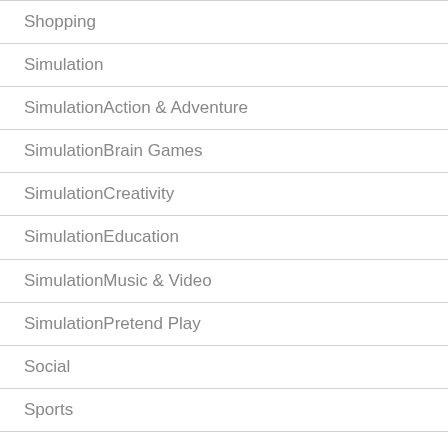Shopping
Simulation
SimulationAction & Adventure
SimulationBrain Games
SimulationCreativity
SimulationEducation
SimulationMusic & Video
SimulationPretend Play
Social
Sports